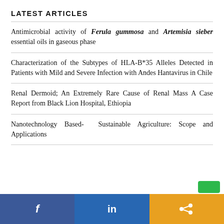LATEST ARTICLES
Antimicrobial activity of Ferula gummosa and Artemisia sieber essential oils in gaseous phase
Characterization of the Subtypes of HLA-B*35 Alleles Detected in Patients with Mild and Severe Infection with Andes Hantavirus in Chile
Renal Dermoid; An Extremely Rare Cause of Renal Mass A Case Report from Black Lion Hospital, Ethiopia
Nanotechnology Based- Sustainable Agriculture: Scope and Applications